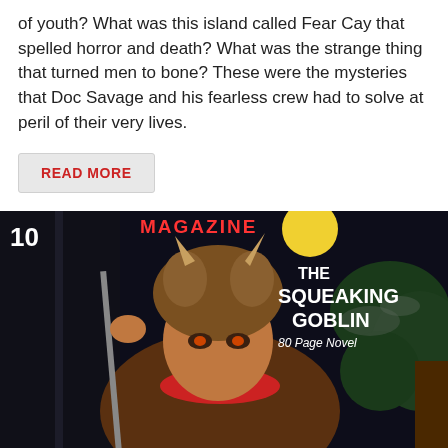of youth? What was this island called Fear Cay that spelled horror and death? What was the strange thing that turned men to bone? These were the mysteries that Doc Savage and his fearless crew had to solve at peril of their very lives.
READ MORE
[Figure (illustration): Pulp magazine cover showing a menacing figure wearing a horned animal skull headdress and fur costume, holding a staff or weapon, set against a dark night background with a full moon and foliage. Text reads 'THE SQUEAKING GOBLIN 80 Page Novel' and magazine header partially visible with '10' and 'MAGAZINE'.]